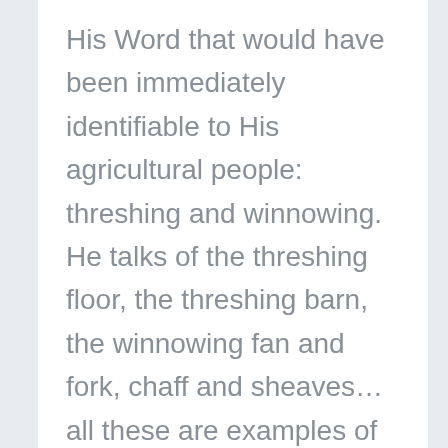His Word that would have been immediately identifiable to His agricultural people: threshing and winnowing. He talks of the threshing floor, the threshing barn, the winnowing fan and fork, chaff and sheaves…all these are examples of His sorting process in judgment. We have lost contact with the land. Do we fully understand know what these prophetic scriptures mean?